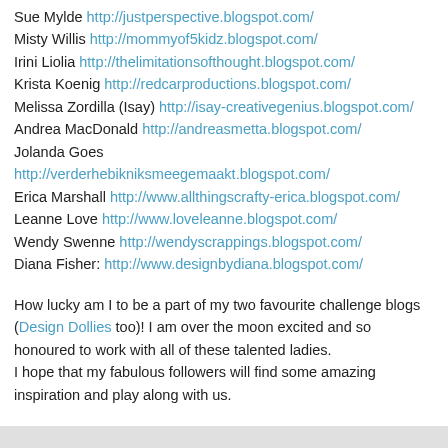Sue Mylde http://justperspective.blogspot.com/
Misty Willis http://mommyof5kidz.blogspot.com/
Irini Liolia http://thelimitationsofthought.blogspot.com/
Krista Koenig http://redcarproductions.blogspot.com/
Melissa Zordilla (Isay) http://isay-creativegenius.blogspot.com/
Andrea MacDonald http://andreasmetta.blogspot.com/
Jolanda Goes http://verderhebikniksmeegemaakt.blogspot.com/
Erica Marshall http://www.allthingscrafty-erica.blogspot.com/
Leanne Love http://www.loveleanne.blogspot.com/
Wendy Swenne http://wendyscrappings.blogspot.com/
Diana Fisher: http://www.designbydiana.blogspot.com/
How lucky am I to be a part of my two favourite challenge blogs (Design Dollies too)! I am over the moon excited and so honoured to work with all of these talented ladies. I hope that my fabulous followers will find some amazing inspiration and play along with us.